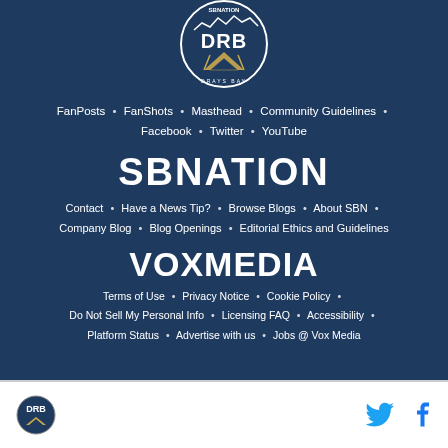[Figure (logo): DRB (Drays Bay) SBNation circular logo with bridge graphic]
FanPosts • FanShots • Masthead • Community Guidelines • Facebook • Twitter • YouTube
SBNATION
Contact • Have a News Tip? • Browse Blogs • About SBN • Company Blog • Blog Openings • Editorial Ethics and Guidelines
VOXMEDIA
Terms of Use • Privacy Notice • Cookie Policy • Do Not Sell My Personal Info • Licensing FAQ • Accessibility • Platform Status • Advertise with us • Jobs @ Vox Media
DRB logo | Twitter icon | Facebook icon